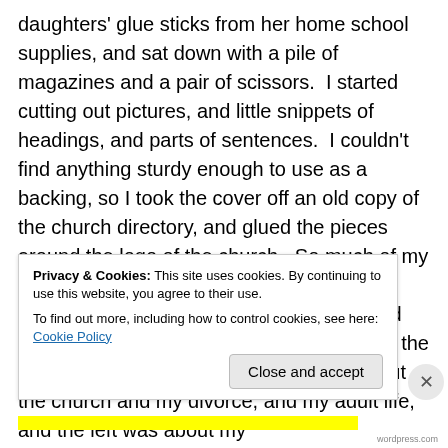daughters' glue sticks from her home school supplies, and sat down with a pile of magazines and a pair of scissors.  I started cutting out pictures, and little snippets of headings, and parts of sentences.  I couldn't find anything sturdy enough to use as a backing, so I took the cover off an old copy of the church directory, and glued the pieces around the logo of the church.  So much of my pain was about the church, and my experience there, that it seemed fitting, and made the finished collage make sense.  To the right of the center fold was everything about the church and my divorce, and my adult life, and the left was about my
Privacy & Cookies: This site uses cookies. By continuing to use this website, you agree to their use.
To find out more, including how to control cookies, see here: Cookie Policy